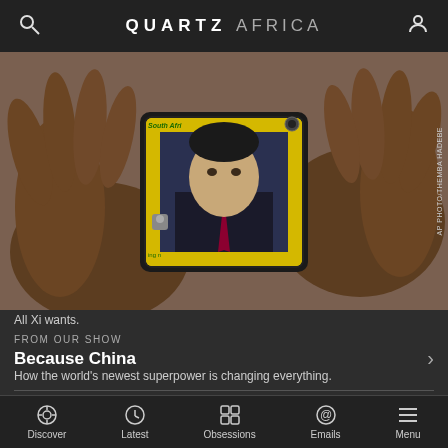QUARTZ AFRICA
[Figure (photo): Hands holding a smartphone displaying Xi Jinping on screen with South Africa text/yellow background visible]
All Xi wants.
FROM OUR SHOW
Because China
How the world's newest superpower is changing everything.
By Celine Sui
Published October 29, 2019 · Last updated July 21, 2022 · This article is more than 2 years old.
Discover  Latest  Obsessions  Emails  Menu